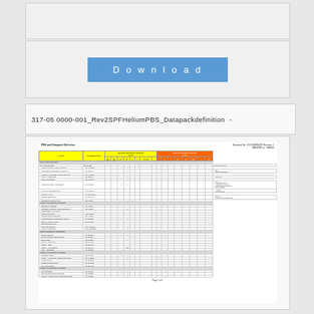[Figure (screenshot): Top grey bar region]
[Figure (screenshot): Download button section with blue button labeled Download]
317-050000-001_Rev2SPFHeliumPBS_Datapackdefinition -
[Figure (table-as-image): PBS and Datapack Definition document preview showing a large engineering table with yellow headers, document reference 317-050000-005 Revision 2, with multiple rows of PBS items, document numbers, and delivery requirements in red and black text, page 1 of 1]